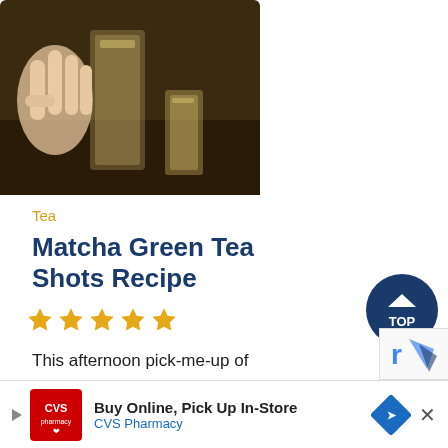[Figure (photo): A hand holding a small glass shot glass with a golden-green liquid, alongside other shot glasses on a dark surface.]
Tea
Matcha Green Tea Shots Recipe
[Figure (other): Five gold/yellow star rating icons indicating 5-star rating.]
This afternoon pick-me-up of matcha green tea is a shot…
5 mins
[Figure (other): Dark blue circular TOP button with upward arrow for scrolling to top of page.]
[Figure (other): reCAPTCHA logo corner widget, partially visible.]
Buy Online, Pick Up In-Store
CVS Pharmacy